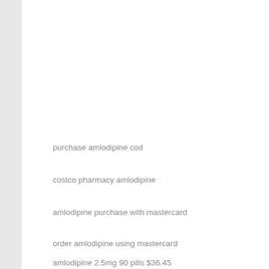purchase amlodipine cod
costco pharmacy amlodipine
amlodipine purchase with mastercard
order amlodipine using mastercard
amlodipine 2.5mg 90 pills $36.45